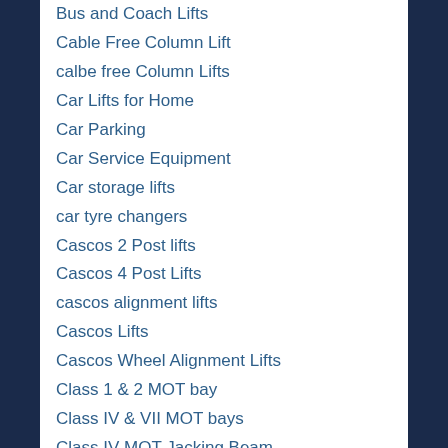Bus and Coach Lifts
Cable Free Column Lift
calbe free Column Lifts
Car Lifts for Home
Car Parking
Car Service Equipment
Car storage lifts
car tyre changers
Cascos 2 Post lifts
Cascos 4 Post Lifts
cascos alignment lifts
Cascos Lifts
Cascos Wheel Alignment Lifts
Class 1 & 2 MOT bay
Class IV & VII MOT bays
Class IV MOT Jacking Beam
Class VII MOT Jacking Beam
Classic Car Lifts